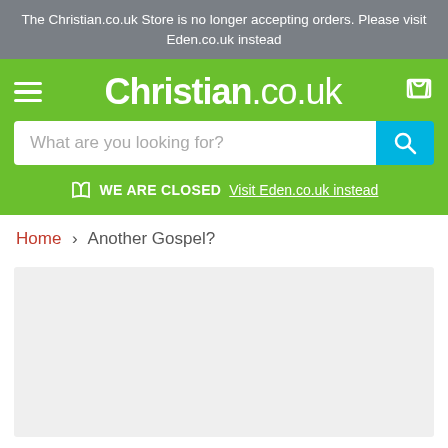The Christian.co.uk Store is no longer accepting orders. Please visit Eden.co.uk instead
[Figure (screenshot): Christian.co.uk website header with green background, hamburger menu, logo, and shopping cart icon]
What are you looking for?
WE ARE CLOSED Visit Eden.co.uk instead
Home > Another Gospel?